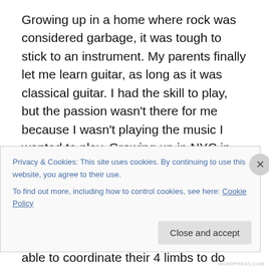Growing up in a home where rock was considered garbage, it was tough to stick to an instrument. My parents finally let me learn guitar, as long as it was classical guitar. I had the skill to play, but the passion wasn't there for me because I wasn't playing the music I wanted to play. Growing up in NYC in the 80's and 90's I also spent a lot of time at dance clubs, and my ear and body gravitated towards rhythms. I became really fascinated by percussion and in awe of the musicians who were able to coordinate their 4 limbs to do different things at the same time and create a single groove. Eventually I ended up dropping
Privacy & Cookies: This site uses cookies. By continuing to use this website, you agree to their use.
To find out more, including how to control cookies, see here: Cookie Policy
Close and accept